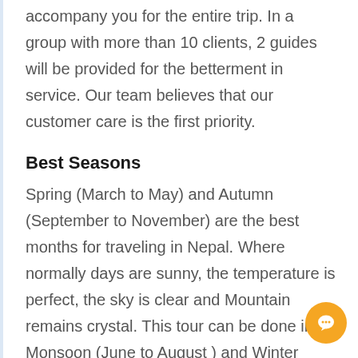accompany you for the entire trip. In a group with more than 10 clients, 2 guides will be provided for the betterment in service. Our team believes that our customer care is the first priority.
Best Seasons
Spring (March to May) and Autumn (September to November) are the best months for traveling in Nepal. Where normally days are sunny, the temperature is perfect, the sky is clear and Mountain remains crystal. This tour can be done in Monsoon (June to August ) and Winter (December to February) but you should not expect the great weather and Mountain view.